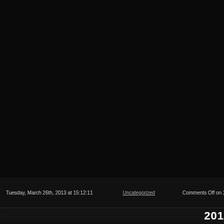[Figure (photo): Large dark/black image area occupying the top portion of the page]
Tuesday, March 26th, 2013 at 15:12:11    Uncategorized    Comments Off on 2013
201